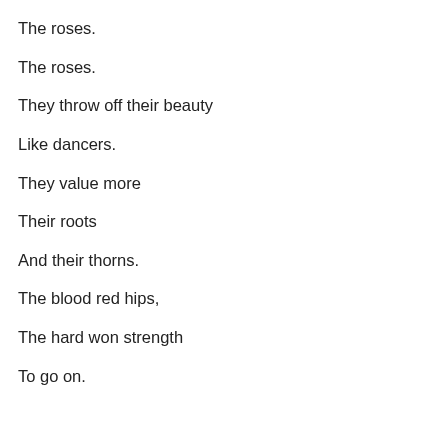The roses.
The roses.
They throw off their beauty
Like dancers.
They value more
Their roots
And their thorns.
The blood red hips,
The hard won strength
To go on.